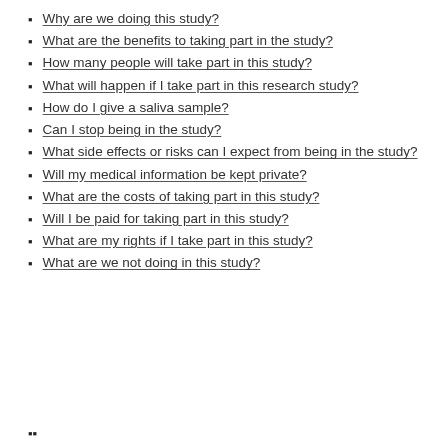Why are we doing this study?
What are the benefits to taking part in the study?
How many people will take part in this study?
What will happen if I take part in this research study?
How do I give a saliva sample?
Can I stop being in the study?
What side effects or risks can I expect from being in the study?
Will my medical information be kept private?
What are the costs of taking part in this study?
Will I be paid for taking part in this study?
What are my rights if I take part in this study?
What are we not doing in this study?